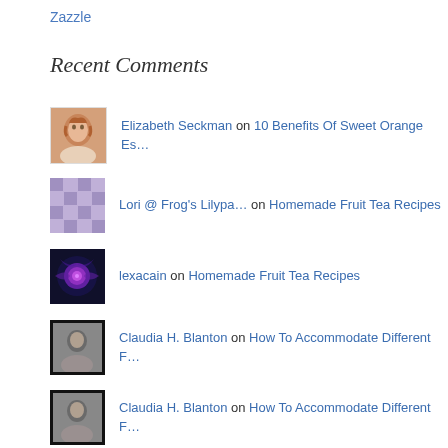Zazzle
Recent Comments
Elizabeth Seckman on 10 Benefits Of Sweet Orange Es…
Lori @ Frog's Lilypa… on Homemade Fruit Tea Recipes
lexacain on Homemade Fruit Tea Recipes
Claudia H. Blanton on How To Accommodate Different F…
Claudia H. Blanton on How To Accommodate Different F…